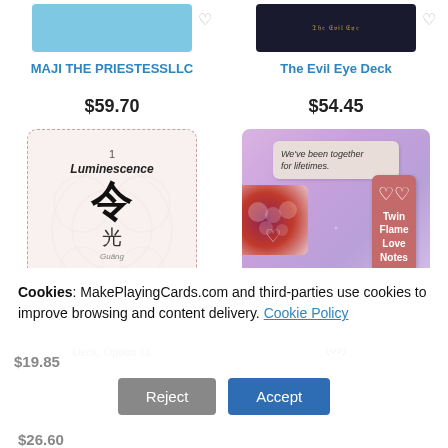[Figure (photo): Product image for MAJI THE PRIESTESSLLC - blue card image]
[Figure (photo): Product image for The Evil Eye Deck - dark card with golden text]
MAJI THE PRIESTESSLLC
The Evil Eye Deck
$59.70
$54.45
[Figure (photo): Oracle card with Chinese characters and bagua symbols, titled Luminescence, with text Radiating with Divine Light]
[Figure (photo): Twin Flame Love Notes card set on purple sparkly background with quote card and heart bokeh card]
Oracle Base, Oracle Collection Deck, Option #1
Twin Flame Love Notes A... (69)
$26.60
$19.85
Cookies: MakePlayingCards.com and third-parties use cookies to improve browsing and content delivery. Cookie Policy
Reject
Accept